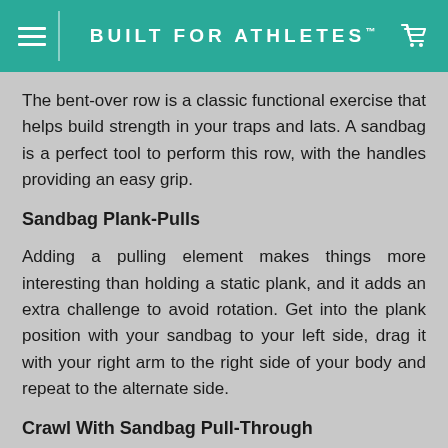BUILT FOR ATHLETES™
The bent-over row is a classic functional exercise that helps build strength in your traps and lats. A sandbag is a perfect tool to perform this row, with the handles providing an easy grip.
Sandbag Plank-Pulls
Adding a pulling element makes things more interesting than holding a static plank, and it adds an extra challenge to avoid rotation. Get into the plank position with your sandbag to your left side, drag it with your right arm to the right side of your body and repeat to the alternate side.
Crawl With Sandbag Pull-Through
Crawling challenges the core, hips and cardiovascular system, and adding a sandbag pull-through makes it even better for building strength. The pull-through engage your